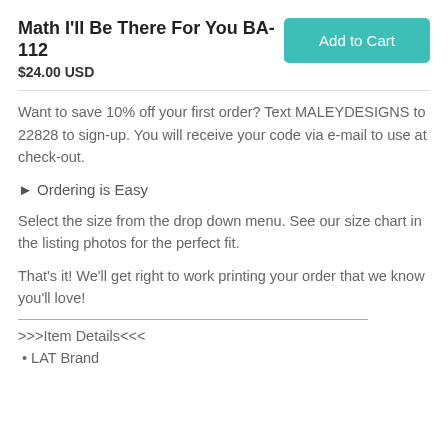Math I'll Be There For You BA-112
$24.00 USD
Want to save 10% off your first order? Text MALEYDESIGNS to 22828 to sign-up. You will receive your code via e-mail to use at check-out.
► Ordering is Easy
Select the size from the drop down menu. See our size chart in the listing photos for the perfect fit.
That's it! We'll get right to work printing your order that we know you'll love!
>>>Item Details<<<
• LAT Brand